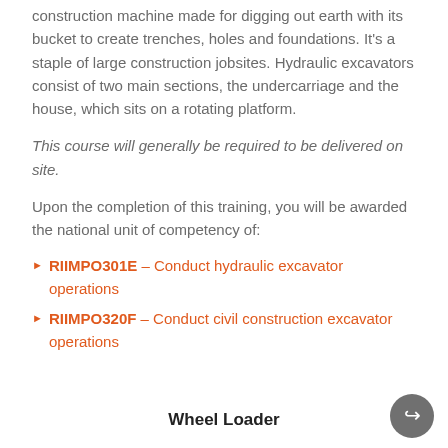construction machine made for digging out earth with its bucket to create trenches, holes and foundations. It's a staple of large construction jobsites. Hydraulic excavators consist of two main sections, the undercarriage and the house, which sits on a rotating platform.
This course will generally be required to be delivered on site.
Upon the completion of this training, you will be awarded the national unit of competency of:
RIIMPO301E – Conduct hydraulic excavator operations
RIIMPO320F – Conduct civil construction excavator operations
Wheel Loader